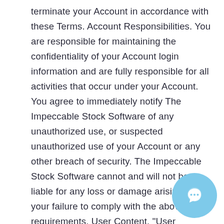terminate your Account in accordance with these Terms. Account Responsibilities. You are responsible for maintaining the confidentiality of your Account login information and are fully responsible for all activities that occur under your Account. You agree to immediately notify The Impeccable Stock Software of any unauthorized use, or suspected unauthorized use of your Account or any other breach of security. The Impeccable Stock Software cannot and will not be liable for any loss or damage arising from your failure to comply with the above requirements. User Content. "User Content" means any and all information and content that a user submits to, or uses with, the Site or the Community (e.g., content in the user's profile or postings). You are solely responsible for your User Content. You assume all associated with use of your User Content, including
[Figure (other): Light blue circular chat/support button icon in the bottom-right corner]